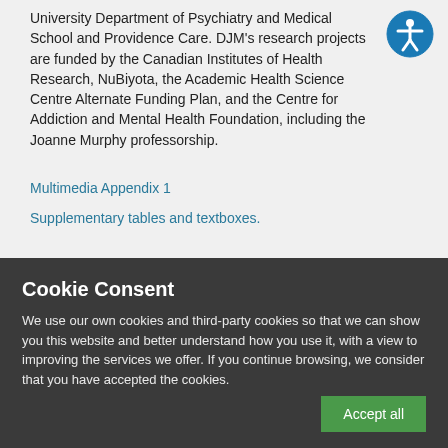University Department of Psychiatry and Medical School and Providence Care. DJM's research projects are funded by the Canadian Institutes of Health Research, NuBiyota, the Academic Health Science Centre Alternate Funding Plan, and the Centre for Addiction and Mental Health Foundation, including the Joanne Murphy professorship.
Multimedia Appendix 1
Supplementary tables and textboxes.
Cookie Consent
We use our own cookies and third-party cookies so that we can show you this website and better understand how you use it, with a view to improving the services we offer. If you continue browsing, we consider that you have accepted the cookies.
Accept all